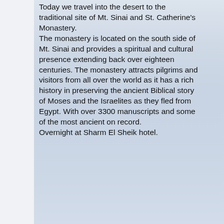Today we travel into the desert to the traditional site of Mt. Sinai and St. Catherine's Monastery. The monastery is located on the south side of Mt. Sinai and provides a spiritual and cultural presence extending back over eighteen centuries. The monastery attracts pilgrims and visitors from all over the world as it has a rich history in preserving the ancient Biblical story of Moses and the Israelites as they fled from Egypt. With over 3300 manuscripts and some of the most ancient on record. Overnight at Sharm El Sheik hotel.